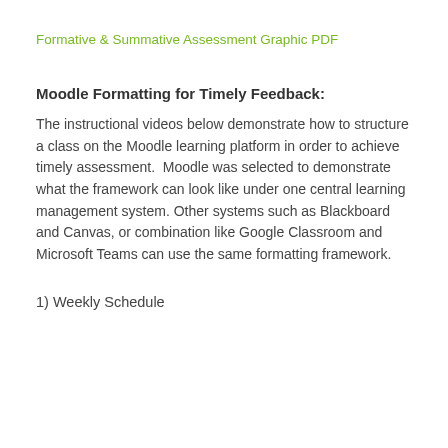Formative & Summative Assessment Graphic PDF
Moodle Formatting for Timely Feedback:
The instructional videos below demonstrate how to structure a class on the Moodle learning platform in order to achieve timely assessment.  Moodle was selected to demonstrate what the framework can look like under one central learning management system. Other systems such as Blackboard and Canvas, or combination like Google Classroom and Microsoft Teams can use the same formatting framework.
1) Weekly Schedule